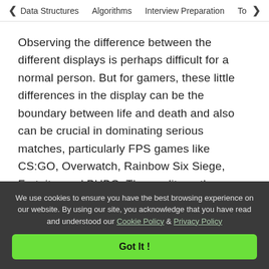< Data Structures   Algorithms   Interview Preparation   To>
Observing the difference between the different displays is perhaps difficult for a normal person. But for gamers, these little differences in the display can be the boundary between life and death and also can be crucial in dominating serious matches, particularly FPS games like CS:GO, Overwatch, Rainbow Six Siege, Fortnite, and PUBG. The quality or the graphics of the picture of the game won't improve. It is the
We use cookies to ensure you have the best browsing experience on our website. By using our site, you acknowledge that you have read and understood our Cookie Policy & Privacy Policy
Got It !